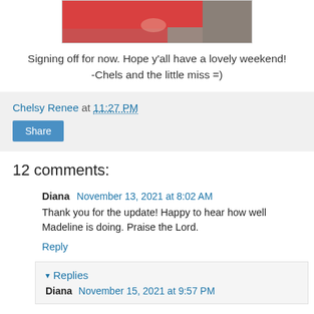[Figure (photo): Bottom portion of a photo showing a baby/child in red clothing on a grey background]
Signing off for now. Hope y'all have a lovely weekend!
-Chels and the little miss =)
Chelsy Renee at 11:27 PM
Share
12 comments:
Diana November 13, 2021 at 8:02 AM
Thank you for the update! Happy to hear how well Madeline is doing. Praise the Lord.
Reply
▾ Replies
Diana November 15, 2021 at 9:57 PM